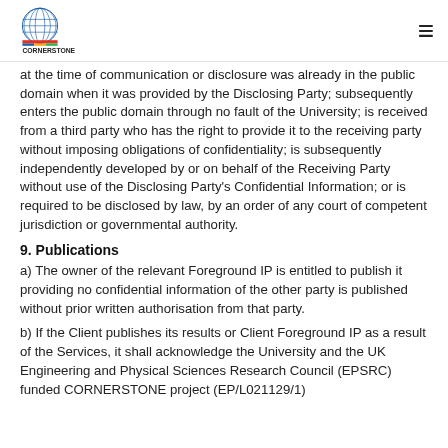CORNERSTONE
at the time of communication or disclosure was already in the public domain when it was provided by the Disclosing Party; subsequently enters the public domain through no fault of the University; is received from a third party who has the right to provide it to the receiving party without imposing obligations of confidentiality; is subsequently independently developed by or on behalf of the Receiving Party without use of the Disclosing Party's Confidential Information; or is required to be disclosed by law, by an order of any court of competent jurisdiction or governmental authority.
9. Publications
a) The owner of the relevant Foreground IP is entitled to publish it providing no confidential information of the other party is published without prior written authorisation from that party.
b) If the Client publishes its results or Client Foreground IP as a result of the Services, it shall acknowledge the University and the UK Engineering and Physical Sciences Research Council (EPSRC) funded CORNERSTONE project (EP/L021129/1)